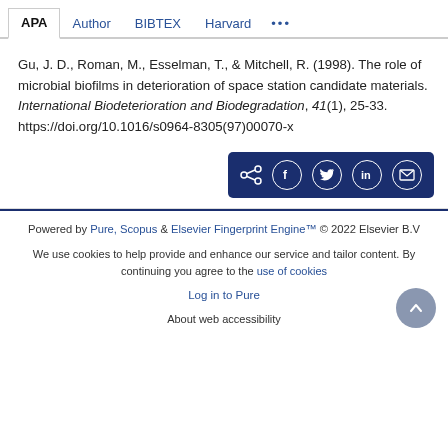APA | Author | BIBTEX | Harvard | ...
Gu, J. D., Roman, M., Esselman, T., & Mitchell, R. (1998). The role of microbial biofilms in deterioration of space station candidate materials. International Biodeterioration and Biodegradation, 41(1), 25-33. https://doi.org/10.1016/s0964-8305(97)00070-x
[Figure (other): Share buttons bar with share, Facebook, Twitter, LinkedIn, and email icons on dark navy background]
Powered by Pure, Scopus & Elsevier Fingerprint Engine™ © 2022 Elsevier B.V
We use cookies to help provide and enhance our service and tailor content. By continuing you agree to the use of cookies
Log in to Pure
About web accessibility